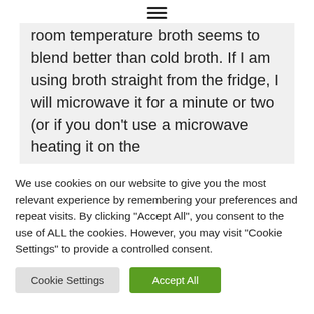☰
room temperature broth seems to blend better than cold broth. If I am using broth straight from the fridge, I will microwave it for a minute or two (or if you don't use a microwave heating it on the
We use cookies on our website to give you the most relevant experience by remembering your preferences and repeat visits. By clicking "Accept All", you consent to the use of ALL the cookies. However, you may visit "Cookie Settings" to provide a controlled consent.
Cookie Settings | Accept All